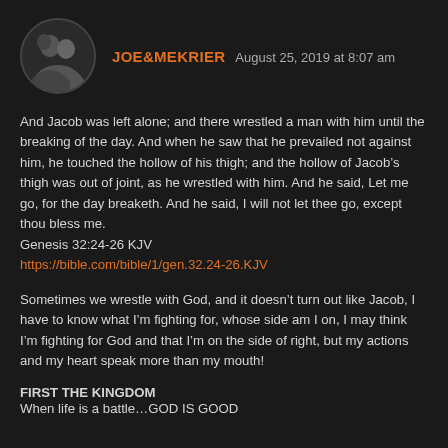[Figure (photo): Circular avatar photo of two people (profile picture for JOE&MEKRIER)]
JOE&MEKRIER  August 25, 2019 at 8:07 am
And Jacob was left alone; and there wrestled a man with him until the breaking of the day. And when he saw that he prevailed not against him, he touched the hollow of his thigh; and the hollow of Jacob’s thigh was out of joint, as he wrestled with him. And he said, Let me go, for the day breaketh. And he said, I will not let thee go, except thou bless me.
Genesis 32:24-26 KJV
https://bible.com/bible/1/gen.32.24-26.KJV
Sometimes we wrestle with God, and it doesn’t turn out like Jacob, I have to know what I’m fighting for, whose side am I on, I may think I’m fighting for God and that I’m on the side of right, but my actions and my heart speak more than my mouth!
FIRST THE KINGDOM
When life is a battle…GOD IS GOOD